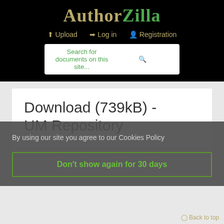AuthorZilla
Upload   Log in   Registration
Search for documents on this site...
Download (739kB) - UM Repository
By using our site you agree to our Cookies Policy
Don't show again for 30 days
Back to top